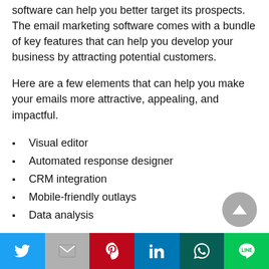software can help you better target its prospects. The email marketing software comes with a bundle of key features that can help you develop your business by attracting potential customers.
Here are a few elements that can help you make your emails more attractive, appealing, and impactful.
Visual editor
Automated response designer
CRM integration
Mobile-friendly outlays
Data analysis
Twitter | Gmail | Pinterest | LinkedIn | WhatsApp | Line